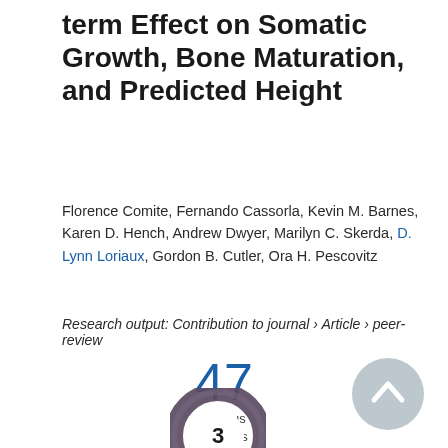term Effect on Somatic Growth, Bone Maturation, and Predicted Height
Florence Comite, Fernando Cassorla, Kevin M. Barnes, Karen D. Hench, Andrew Dwyer, Marilyn C. Skerda, D. Lynn Loriaux, Gordon B. Cutler, Ora H. Pescovitz
Research output: Contribution to journal › Article › peer-review
[Figure (infographic): Scopus citations badge showing the number 47 in large blue text with 'Scopus citations' label below]
[Figure (donut-chart): Donut/ring badge showing the number 3 in the center, dark purple/grey ring around it]
[Figure (other): Scroll-to-top button: grey circle with upward chevron arrow]